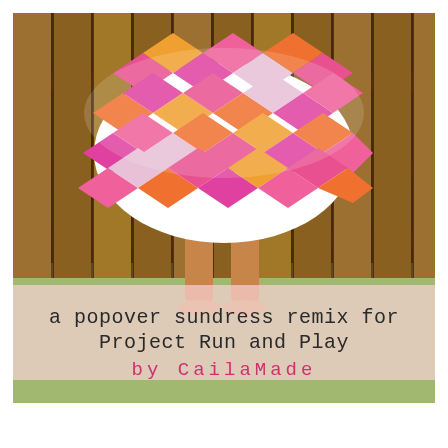[Figure (photo): A child wearing a colorful chevron/herringbone patterned sundress in pink, magenta, orange and white, standing on a wooden fence or deck. The lower half of the child is visible showing tanned legs and sandals. The background shows a grassy outdoor area. Overlaid text reads 'a popover sundress remix for Project Run and Play by CailaMade'.]
a popover sundress remix for Project Run and Play
by CailaMade